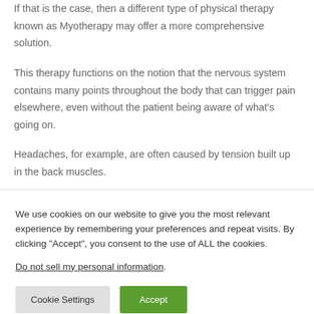If that is the case, then a different type of physical therapy known as Myotherapy may offer a more comprehensive solution.
This therapy functions on the notion that the nervous system contains many points throughout the body that can trigger pain elsewhere, even without the patient being aware of what’s going on.
Headaches, for example, are often caused by tension built up in the back muscles.
We use cookies on our website to give you the most relevant experience by remembering your preferences and repeat visits. By clicking “Accept”, you consent to the use of ALL the cookies. Do not sell my personal information.
Cookie Settings
Accept